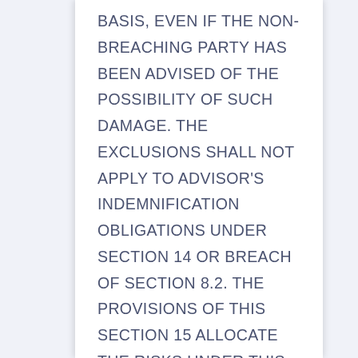BASIS, EVEN IF THE NON-BREACHING PARTY HAS BEEN ADVISED OF THE POSSIBILITY OF SUCH DAMAGE. THE EXCLUSIONS SHALL NOT APPLY TO ADVISOR'S INDEMNIFICATION OBLIGATIONS UNDER SECTION 14 OR BREACH OF SECTION 8.2. THE PROVISIONS OF THIS SECTION 15 ALLOCATE THE RISKS UNDER THIS AGREEMENT BETWEEN THE